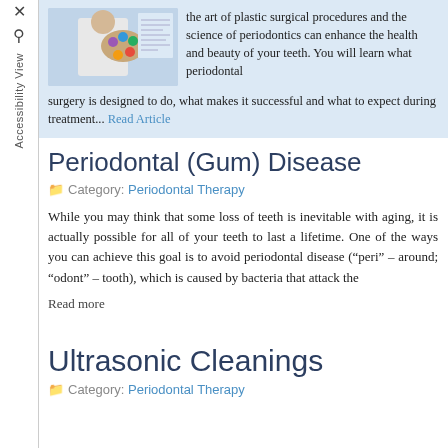[Figure (photo): Photo of a dental professional or artist holding a palette with colorful circles, in white coat, with a blurred document or article in the background]
the art of plastic surgical procedures and the science of periodontics can enhance the health and beauty of your teeth. You will learn what periodontal surgery is designed to do, what makes it successful and what to expect during treatment... Read Article
Periodontal (Gum) Disease
Category: Periodontal Therapy
While you may think that some loss of teeth is inevitable with aging, it is actually possible for all of your teeth to last a lifetime. One of the ways you can achieve this goal is to avoid periodontal disease (“peri” – around; “odont” – tooth), which is caused by bacteria that attack the
Read more
Ultrasonic Cleanings
Category: Periodontal Therapy